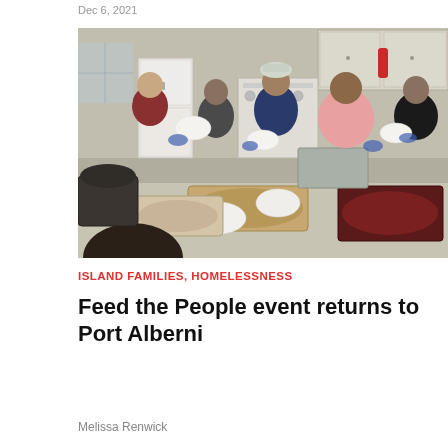Dec 6, 2021
[Figure (photo): Volunteers serving food at a community kitchen event. Several people wearing blue gloves plate food from large trays on a counter. The setting is a community kitchen with appliances visible in the background.]
ISLAND FAMILIES, HOMELESSNESS
Feed the People event returns to Port Alberni
Melissa Renwick